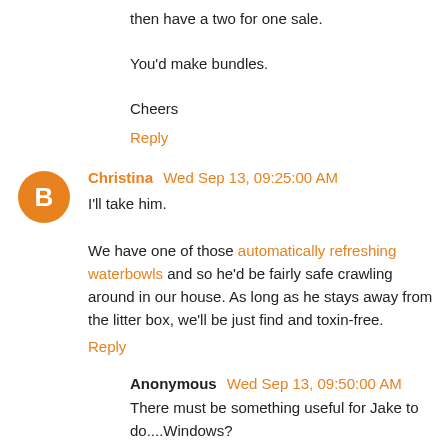then have a two for one sale.
You'd make bundles.
Cheers
Reply
Christina Wed Sep 13, 09:25:00 AM
I'll take him.

We have one of those automatically refreshing waterbowls and so he'd be fairly safe crawling around in our house. As long as he stays away from the litter box, we'll be just find and toxin-free.
Reply
Anonymous Wed Sep 13, 09:50:00 AM
There must be something useful for Jake to do....Windows? Taxes? Dishes?